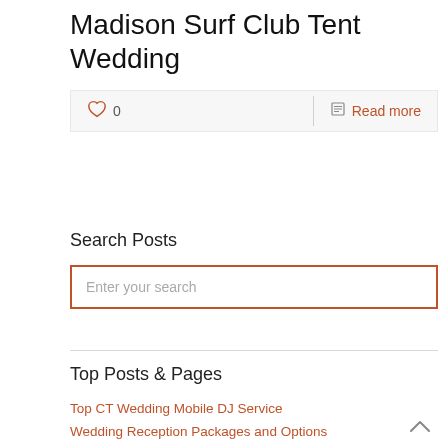Madison Surf Club Tent Wedding
♡ 0   Read more
Search Posts
Enter your search
Top Posts & Pages
Top CT Wedding Mobile DJ Service
Wedding Reception Packages and Options
My account
Contact